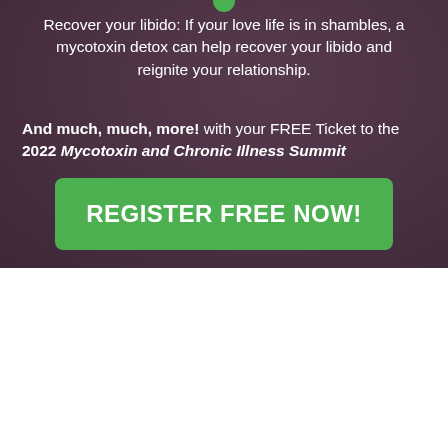Recover your libido: If your love life is in shambles, a mycotoxin detox can help recover your libido and reignite your relationship.
And much, much, more! with your FREE Ticket to the 2022 Mycotoxin and Chronic Illness Summit
[Figure (other): Green REGISTER FREE NOW! call-to-action button]
IT'S TIME FOR A REALITY CHECK